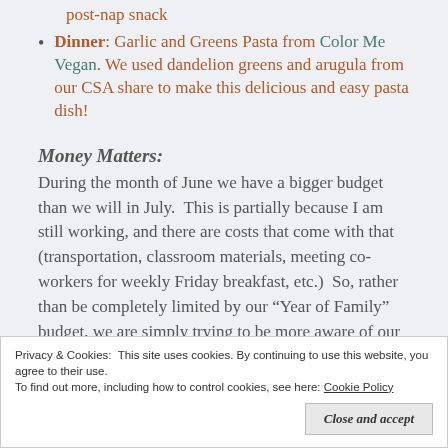post-nap snack
Dinner: Garlic and Greens Pasta from Color Me Vegan. We used dandelion greens and arugula from our CSA share to make this delicious and easy pasta dish!
Money Matters:
During the month of June we have a bigger budget than we will in July.  This is partially because I am still working, and there are costs that come with that (transportation, classroom materials, meeting co-workers for weekly Friday breakfast, etc.)  So, rather than be completely limited by our “Year of Family” budget, we are simply trying to be more aware of our spending
Privacy & Cookies: This site uses cookies. By continuing to use this website, you agree to their use. To find out more, including how to control cookies, see here: Cookie Policy
Close and accept